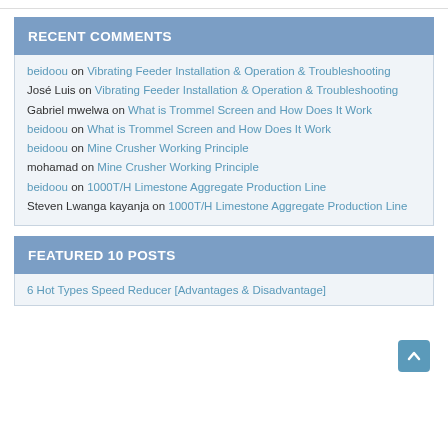RECENT COMMENTS
beidoou on Vibrating Feeder Installation & Operation & Troubleshooting
José Luis on Vibrating Feeder Installation & Operation & Troubleshooting
Gabriel mwelwa on What is Trommel Screen and How Does It Work
beidoou on What is Trommel Screen and How Does It Work
beidoou on Mine Crusher Working Principle
mohamad on Mine Crusher Working Principle
beidoou on 1000T/H Limestone Aggregate Production Line
Steven Lwanga kayanja on 1000T/H Limestone Aggregate Production Line
FEATURED 10 POSTS
6 Hot Types Speed Reducer [Advantages & Disadvantage]